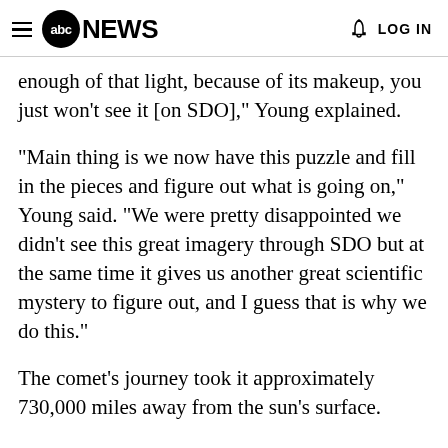abc NEWS  LOG IN
enough of that light, because of its makeup, you just won't see it [on SDO]," Young explained.
"Main thing is we now have this puzzle and fill in the pieces and figure out what is going on," Young said. "We were pretty disappointed we didn't see this great imagery through SDO but at the same time it gives us another great scientific mystery to figure out, and I guess that is why we do this."
The comet's journey took it approximately 730,000 miles away from the sun's surface.